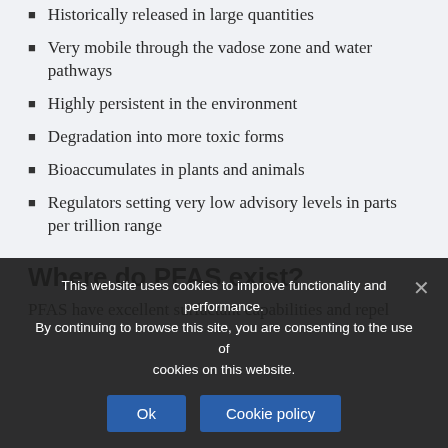Historically released in large quantities
Very mobile through the vadose zone and water pathways
Highly persistent in the environment
Degradation into more toxic forms
Bioaccumulates in plants and animals
Regulators setting very low advisory levels in parts per trillion range
Where do PFAS exist?
PFAS have excellent surfactant capabilities and repel
This website uses cookies to improve functionality and performance. By continuing to browse this site, you are consenting to the use of cookies on this website.